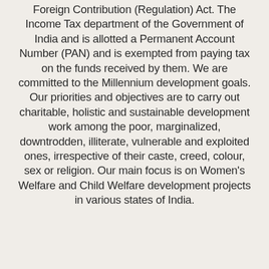Foreign Contribution (Regulation) Act. The Income Tax department of the Government of India and is allotted a Permanent Account Number (PAN) and is exempted from paying tax on the funds received by them. We are committed to the Millennium development goals. Our priorities and objectives are to carry out charitable, holistic and sustainable development work among the poor, marginalized, downtrodden, illiterate, vulnerable and exploited ones, irrespective of their caste, creed, colour, sex or religion. Our main focus is on Women's Welfare and Child Welfare development projects in various states of India.